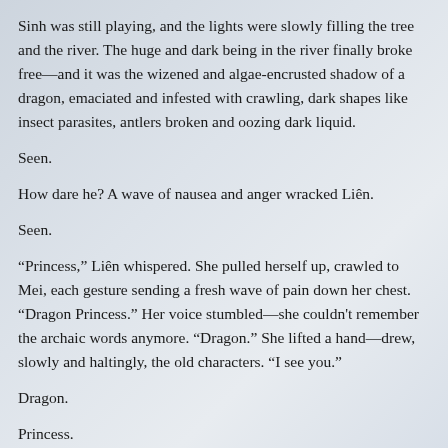Sinh was still playing, and the lights were slowly filling the tree and the river. The huge and dark being in the river finally broke free—and it was the wizened and algae-encrusted shadow of a dragon, emaciated and infested with crawling, dark shapes like insect parasites, antlers broken and oozing dark liquid.
Seen.
How dare he? A wave of nausea and anger wracked Liên.
Seen.
“Princess,” Liên whispered. She pulled herself up, crawled to Mei, each gesture sending a fresh wave of pain down her chest. “Dragon Princess.” Her voice stumbled—she couldn't remember the archaic words anymore. “Dragon.” She lifted a hand—drew, slowly and haltingly, the old characters. “I see you.”
Dragon.
Princess.
Mei.